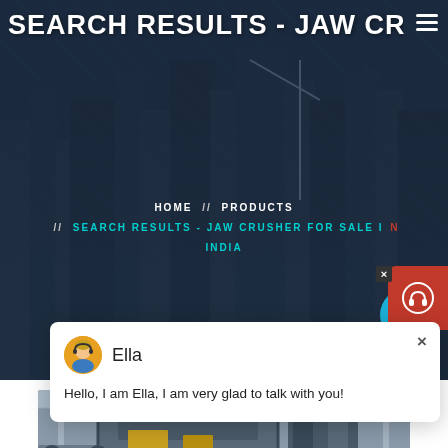SEARCH RESULTS - JAW CRUS...
HOME // PRODUCTS // SEARCH RESULTS - JAW CRUSHER FOR SALE IN INDIA
Ella
Hello, I am Ella, I am very glad to talk with you!
1
[Figure (photo): Industrial jaw crusher machine inside a facility, large metal equipment with structural framework]